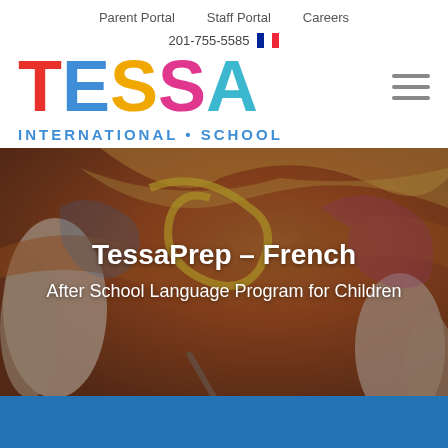Parent Portal  Staff Portal  Careers
201-755-5585
TESSA INTERNATIONAL SCHOOL
[Figure (screenshot): Tessa International School website screenshot showing colorful TESSA logo, navigation bar with Parent Portal, Staff Portal, Careers, phone number 201-755-5585, French flag, hamburger menu, and hero image of children painting with overlay text TessaPrep – French, After School Language Program for Children, and a blue strip at the bottom.]
TessaPrep – French
After School Language Program for Children